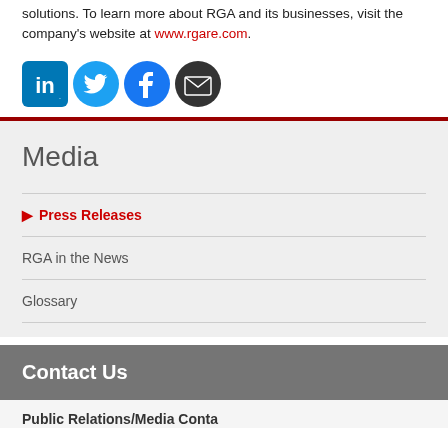solutions. To learn more about RGA and its businesses, visit the company's website at www.rgare.com.
[Figure (illustration): Social media icons: LinkedIn, Twitter, Facebook, and Email/Envelope buttons]
Media
Press Releases
RGA in the News
Glossary
Contact Us
Public Relations/Media Contact